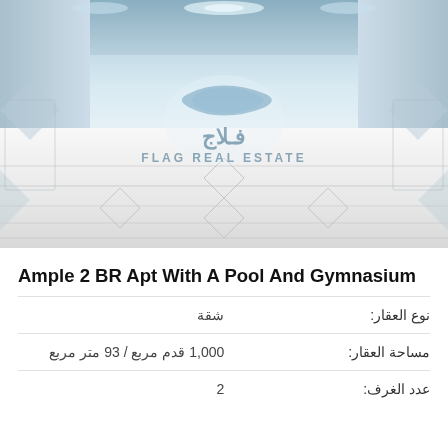[Figure (photo): Interior corridor of a modern apartment building with white tiled floors, white walls, and recessed ceiling lights. Flag Real Estate watermark overlaid in center.]
Ample 2 BR Apt With A Pool And Gymnasium
| label | value |
| --- | --- |
| نوع العقار: | شقة |
| مساحة العقار: | 1,000 قدم مربع / 93 متر مربع |
| عدد الغرف: | 2 |